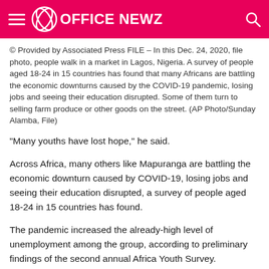OFFICE NEWZ
© Provided by Associated Press FILE – In this Dec. 24, 2020, file photo, people walk in a market in Lagos, Nigeria. A survey of people aged 18-24 in 15 countries has found that many Africans are battling the economic downturns caused by the COVID-19 pandemic, losing jobs and seeing their education disrupted. Some of them turn to selling farm produce or other goods on the street. (AP Photo/Sunday Alamba, File)
“Many youths have lost hope,” he said.
Across Africa, many others like Mapuranga are battling the economic downturn caused by COVID-19, losing jobs and seeing their education disrupted, a survey of people aged 18-24 in 15 countries has found.
The pandemic increased the already-high level of unemployment among the group, according to preliminary findings of the second annual Africa Youth Survey.